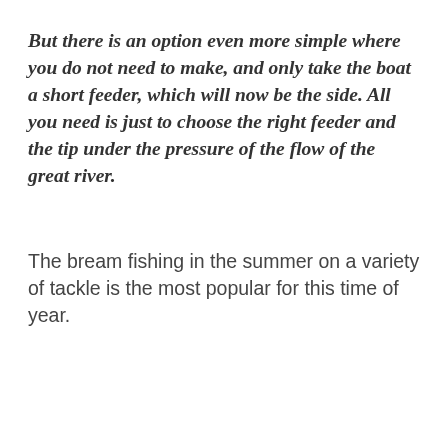But there is an option even more simple where you do not need to make, and only take the boat a short feeder, which will now be the side. All you need is just to choose the right feeder and the tip under the pressure of the flow of the great river.
The bream fishing in the summer on a variety of tackle is the most popular for this time of year.